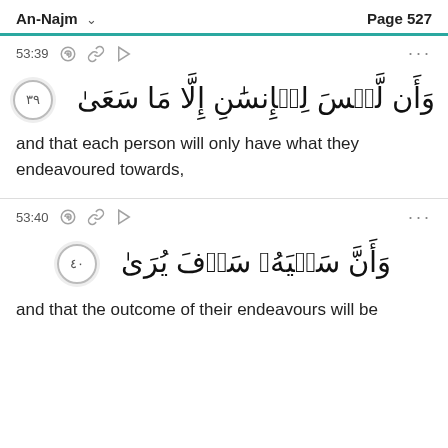An-Najm  Page 527
53:39
[Figure (other): Arabic Quranic verse 39 of Surah An-Najm with ornate verse number circle]
and that each person will only have what they endeavoured towards,
53:40
[Figure (other): Arabic Quranic verse 40 of Surah An-Najm with ornate verse number circle]
and that  the outcome of  their endeavours will be